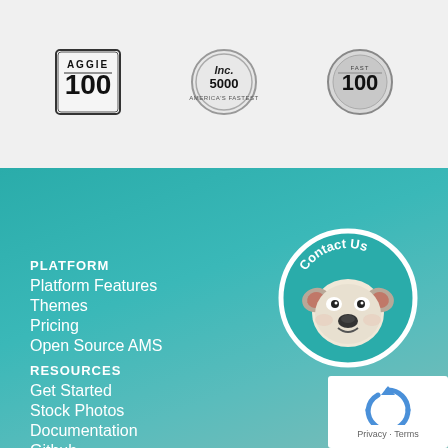[Figure (logo): Aggie 100 badge - circular black and white badge with '100' and 'AGGIE' text]
[Figure (logo): Inc. 5000 badge - circular silver badge with 'Inc. 5000' text]
[Figure (logo): Fast 100 badge - circular silver badge with 'FAST 100' text]
PLATFORM
Platform Features
Themes
Pricing
Open Source AMS
RESOURCES
Get Started
Stock Photos
Documentation
Github
ABOUT
[Figure (illustration): Contact Us circular button with a French Bulldog illustration]
[Figure (other): Google reCAPTCHA widget with Privacy and Terms links]